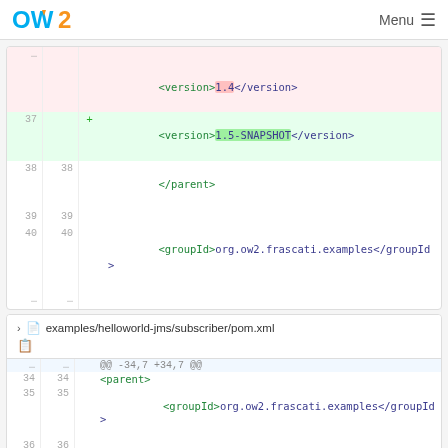OW2 Menu
[Figure (screenshot): Code diff showing XML version tag change from 1.4 to 1.5-SNAPSHOT, with line numbers, followed by closing parent tag and groupId tag for org.ow2.frascati.examples]
examples/helloworld-jms/subscriber/pom.xml
[Figure (screenshot): Code diff of examples/helloworld-jms/subscriber/pom.xml showing hunk @@ -34,7 +34,7 @@ with parent, groupId org.ow2.frascati.examples, and artifactId helloworld lines]